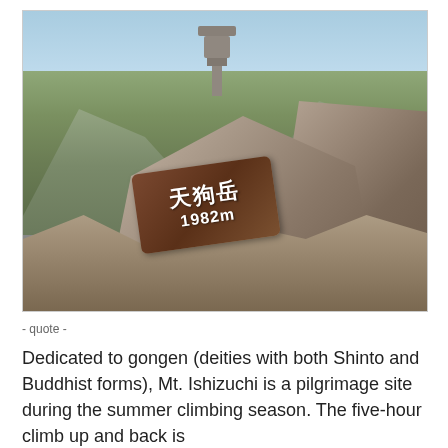[Figure (photo): Photograph of the summit of Mt. Ishizuchi (Tengu-dake) in Japan. Rocky mountain peak with a stone lantern on top against a blue sky with mountain ranges in the background. A brown wooden sign in the foreground reads Japanese characters (天狗岳) and '1982m'.]
- quote -
Dedicated to gongen (deities with both Shinto and Buddhist forms), Mt. Ishizuchi is a pilgrimage site during the summer climbing season. The five-hour climb up and back is